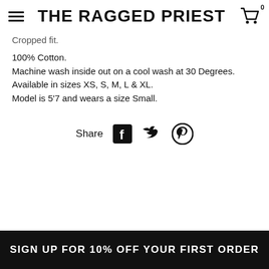THE RAGGED PRIEST
Cropped fit.
100% Cotton.
Machine wash inside out on a cool wash at 30 Degrees.
Available in sizes XS, S, M, L & XL.
Model is 5'7 and wears a size Small.
[Figure (infographic): Share icons row: Facebook, Twitter, Pinterest icons with 'Share' label]
SIGN UP FOR 10% OFF YOUR FIRST ORDER